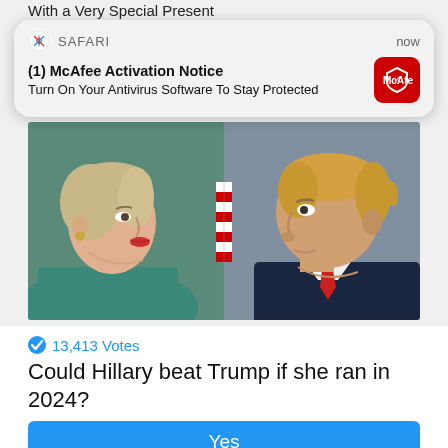With a Very Special Present
[Figure (screenshot): Safari browser notification card showing McAfee Activation Notice: Turn On Your Antivirus Software To Stay Protected, with McAfee red icon logo, timestamped 'now']
[Figure (photo): Side-by-side photo of Hillary Clinton (left, facing right, in teal jacket) and Donald Trump (right, facing left, in dark suit with red tie)]
🔵 13,413 Votes
Could Hillary beat Trump if she ran in 2024?
Yes